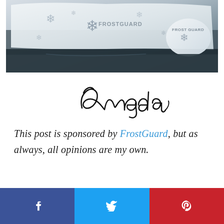[Figure (photo): Photo of a white FrostGuard windshield cover with snowflake pattern draped over a car windshield, with a matching side mirror cover also visible. The covers are white with silver/grey snowflake designs and the FrostGuard logo.]
[Figure (illustration): Handwritten cursive signature reading 'Angela' in black ink on white background.]
This post is sponsored by FrostGuard, but as always, all opinions are my own.
[Figure (infographic): Social media sharing buttons: Facebook (blue), Twitter (light blue), Pinterest (red).]